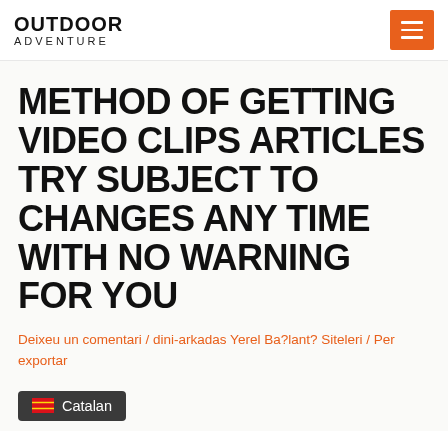OUTDOOR ADVENTURE
METHOD OF GETTING VIDEO CLIPS ARTICLES TRY SUBJECT TO CHANGES ANY TIME WITH NO WARNING FOR YOU
Deixeu un comentari / dini-arkadas Yerel Ba?lant? Siteleri / Per exportar
[Figure (screenshot): Language selector button showing Catalan flag and text 'Catalan' on dark background]